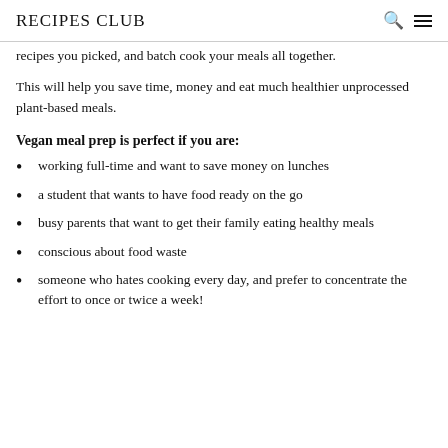RECIPES CLUB
recipes you picked, and batch cook your meals all together.
This will help you save time, money and eat much healthier unprocessed plant-based meals.
Vegan meal prep is perfect if you are:
working full-time and want to save money on lunches
a student that wants to have food ready on the go
busy parents that want to get their family eating healthy meals
conscious about food waste
someone who hates cooking every day, and prefer to concentrate the effort to once or twice a week!